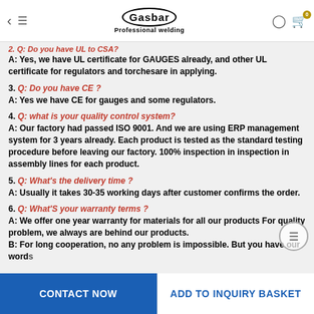Gasbar Professional welding
2. Q: Do you have UL to CSA? A: Yes, we have UL certificate for GAUGES already, and other UL certificate for regulators and torchesare in applying.
3. Q: Do you have CE ? A: Yes we have CE for gauges and some regulators.
4. Q: what is your quality control system? A: Our factory had passed ISO 9001. And we are using ERP management system for 3 years already. Each product is tested as the standard testing procedure before leaving our factory. 100% inspection in inspection in assembly lines for each product.
5. Q: What's the delivery time ? A: Usually it takes 30-35 working days after customer confirms the order.
6. Q: What'S your warranty terms ? A: We offer one year warranty for materials for all our products For quality problem, we always are behind our products. B: For long cooperation, no any problem is impossible. But you have our words...
CONTACT NOW | ADD TO INQUIRY BASKET